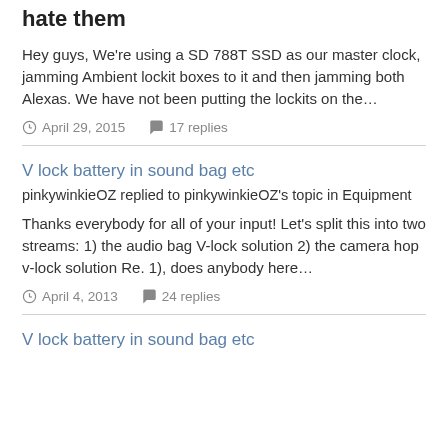hate them
Hey guys, We're using a SD 788T SSD as our master clock, jamming Ambient lockit boxes to it and then jamming both Alexas. We have not been putting the lockits on the...
April 29, 2015   17 replies
V lock battery in sound bag etc
pinkywinkieOZ replied to pinkywinkieOZ's topic in Equipment
Thanks everybody for all of your input! Let's split this into two streams: 1) the audio bag V-lock solution 2) the camera hop v-lock solution Re. 1), does anybody here...
April 4, 2013   24 replies
V lock battery in sound bag etc